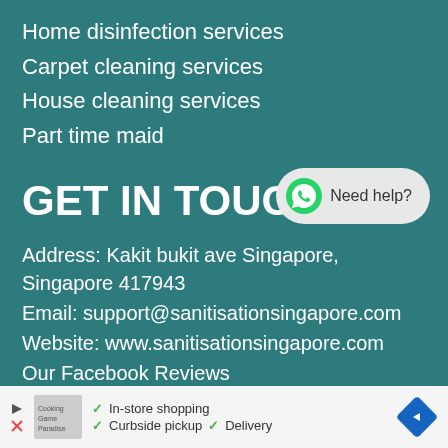Home disinfection services
Carpet cleaning services
House cleaning services
Part time maid
[Figure (infographic): WhatsApp-style chat bubble with green WhatsApp logo and text 'Need help?']
GET IN TOUCH
Address: Kakit bukit ave Singapore, Singapore 417943
Email: support@sanitisationsingapore.com
Website: www.sanitisationsingapore.com
Our Facebook Reviews
Our Pinterest Page
[Figure (infographic): Advertisement bar at bottom showing store logo, checkmarks for 'In-store shopping', 'Curbside pickup', 'Delivery', and a blue diamond navigation icon]